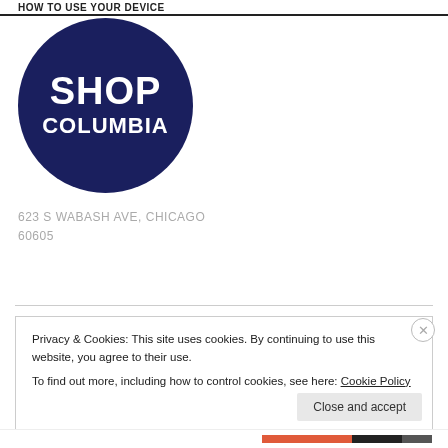HOW TO USE YOUR DEVICE
[Figure (logo): Shop Columbia circular logo — dark navy blue circle with white text 'SHOP' on top and 'COLUMBIA' below]
623 S WABASH AVE, CHICAGO
60605
Privacy & Cookies: This site uses cookies. By continuing to use this website, you agree to their use.
To find out more, including how to control cookies, see here: Cookie Policy
Close and accept